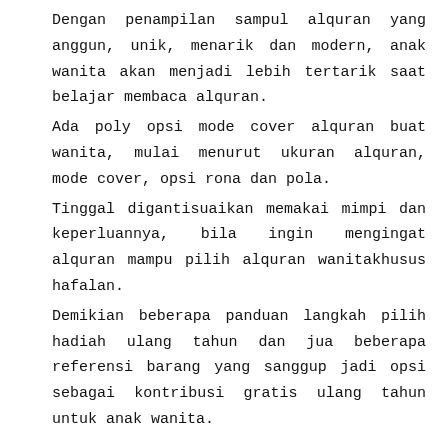Dengan penampilan sampul alquran yang anggun, unik, menarik dan modern, anak wanita akan menjadi lebih tertarik saat belajar membaca alquran.
Ada poly opsi mode cover alquran buat wanita, mulai menurut ukuran alquran, mode cover, opsi rona dan pola.
Tinggal digantisuaikan memakai mimpi dan keperluannya, bila ingin mengingat alquran mampu pilih alquran wanitakhusus hafalan.
Demikian beberapa panduan langkah pilih hadiah ulang tahun dan jua beberapa referensi barang yang sanggup jadi opsi sebagai kontribusi gratis ulang tahun untuk anak wanita.